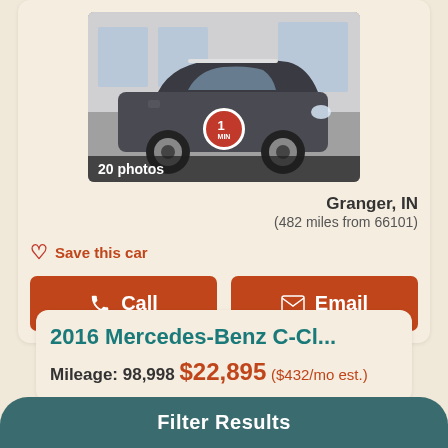[Figure (photo): Dark gray MINI Clubman parked in front of a dealership building, with a red badge overlay and '20 photos' label bar.]
Granger, IN
(482 miles from 66101)
Save this car
Call
Email
2016 Mercedes-Benz C-Cl...
Mileage: 98,998  $22,895 ($432/mo est.)
Filter Results